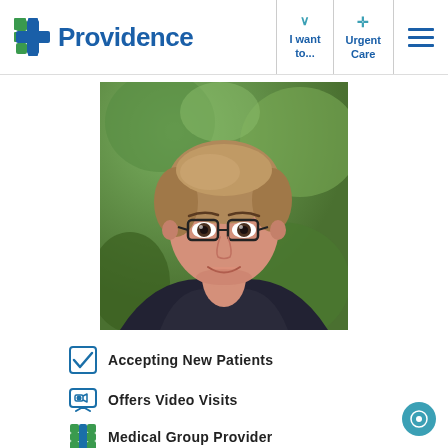Providence | I want to... | Urgent Care
[Figure (photo): Professional headshot of a woman with short blonde-brown hair wearing glasses and a dark V-neck top, smiling, with a blurred green outdoor background.]
Accepting New Patients
Offers Video Visits
Medical Group Provider